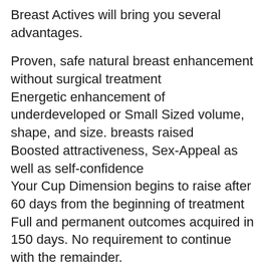Breast Actives will bring you several advantages.
Proven, safe natural breast enhancement without surgical treatment
Energetic enhancement of underdeveloped or Small Sized volume, shape, and size. breasts raised
Boosted attractiveness, Sex-Appeal as well as self-confidence
Your Cup Dimension begins to raise after 60 days from the beginning of treatment
Full and permanent outcomes acquired in 150 days. No requirement to continue with the remainder.
Cost-effective to acquire as well as utilize– Less than 5% of the expense of implants
No awkward medical professional's brows